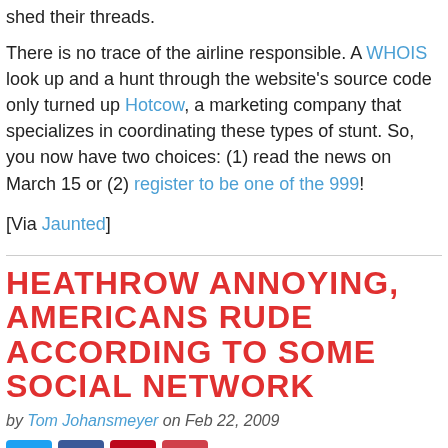shed their threads.
There is no trace of the airline responsible. A WHOIS look up and a hunt through the website's source code only turned up Hotcow, a marketing company that specializes in coordinating these types of stunt. So, you now have two choices: (1) read the news on March 15 or (2) register to be one of the 999!
[Via Jaunted]
HEATHROW ANNOYING, AMERICANS RUDE ACCORDING TO SOME SOCIAL NETWORK
by Tom Johansmeyer on Feb 22, 2009
[Figure (other): Social sharing buttons: Twitter (blue), Facebook (dark blue), Pinterest (red), Email (red)]
The members of social network Where Are you Now? have spoken! Heathrow is the worst airport in the world, according